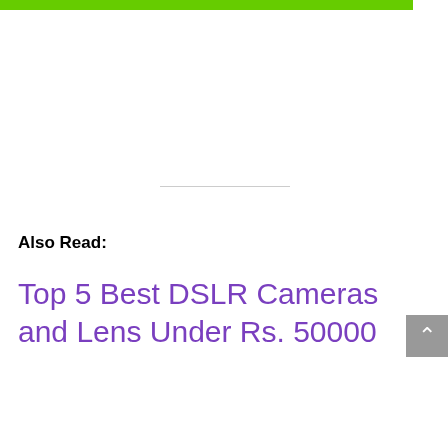Also Read:
Top 5 Best DSLR Cameras and Lens Under Rs. 50000